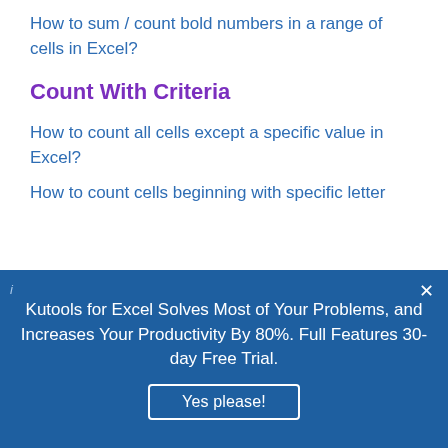How to sum / count bold numbers in a range of cells in Excel?
Count With Criteria
How to count all cells except a specific value in Excel?
How to count cells beginning with specific letter
[Figure (infographic): Blue promotional banner for Kutools for Excel with text 'Kutools for Excel Solves Most of Your Problems, and Increases Your Productivity By 80%. Full Features 30-day Free Trial.' and a 'Yes please!' button. An X close button and an info icon are visible.]